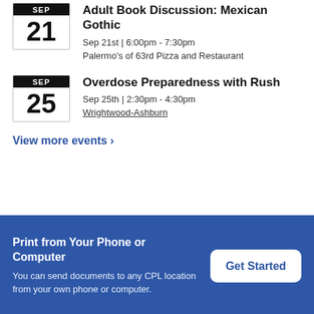Adult Book Discussion: Mexican Gothic
Sep 21st | 6:00pm - 7:30pm
Palermo's of 63rd Pizza and Restaurant
Overdose Preparedness with Rush
Sep 25th | 2:30pm - 4:30pm
Wrightwood-Ashburn
View more events >
Print from Your Phone or Computer
You can send documents to any CPL location from your own phone or computer.
Get Started